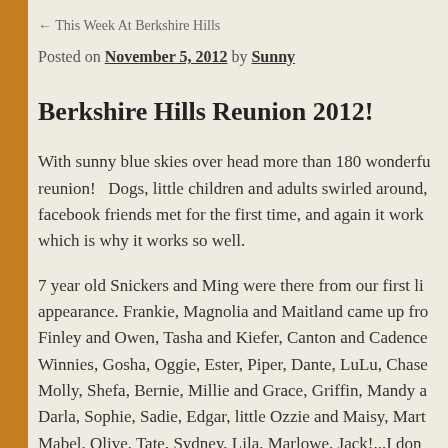← This Week At Berkshire Hills
Posted on November 5, 2012 by Sunny
Berkshire Hills Reunion 2012!
With sunny blue skies over head more than 180 wonderfu reunion!   Dogs, little children and adults swirled around, facebook friends met for the first time, and again it work which is why it works so well.
7 year old Snickers and Ming were there from our first li appearance. Frankie, Magnolia and Maitland came up fro Finley and Owen, Tasha and Kiefer, Canton and Cadence Winnies, Gosha, Oggie, Ester, Piper, Dante, LuLu, Chase Molly, Shefa, Bernie, Millie and Grace, Griffin, Mandy a Darla, Sophie, Sadie, Edgar, little Ozzie and Maisy, Mart Mabel, Olive, Tate, Sydney, Lila, Marlowe, Jack!...I don